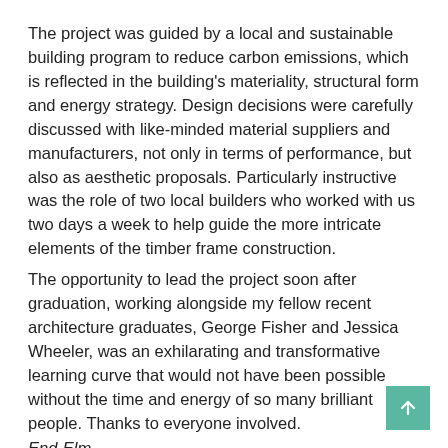The project was guided by a local and sustainable building program to reduce carbon emissions, which is reflected in the building's materiality, structural form and energy strategy. Design decisions were carefully discussed with like-minded material suppliers and manufacturers, not only in terms of performance, but also as aesthetic proposals. Particularly instructive was the role of two local builders who worked with us two days a week to help guide the more intricate elements of the timber frame construction.
The opportunity to lead the project soon after graduation, working alongside my fellow recent architecture graduates, George Fisher and Jessica Wheeler, was an exhilarating and transformative learning curve that would not have been possible without the time and energy of so many brilliant people. Thanks to everyone involved.
End-Elm